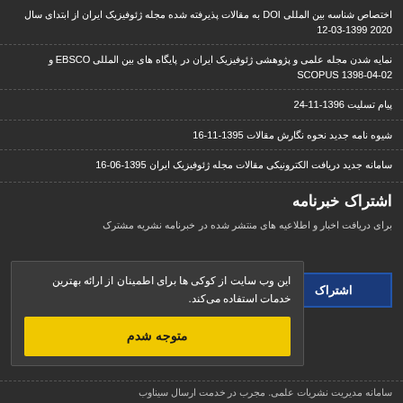اختصاص شناسه بین المللی DOI به مقالات پذیرفته شده مجله ژئوفیزیک ایران از ابتدای سال 2020 1399-03-12
نمایه شدن مجله علمی و پژوهشی ژئوفیزیک ایران در پایگاه های بین المللی EBSCO و SCOPUS 1398-04-02
پیام تسلیت 1396-11-24
شیوه نامه جدید نحوه نگارش مقالات 1395-11-16
سامانه جدید دریافت الکترونیکی مقالات مجله ژئوفیزیک ایران 1395-06-16
اشتراک خبرنامه
برای دریافت اخبار و اطلاعیه های منتشر شده در خبرنامه نشریه مشترک
اشتراک
این وب سایت از کوکی ها برای اطمینان از ارائه بهترین خدمات استفاده می کند.
متوجه شدم
سامانه مدیریت نشریات علمی. مجرب در خدمت ارسال سیناوب